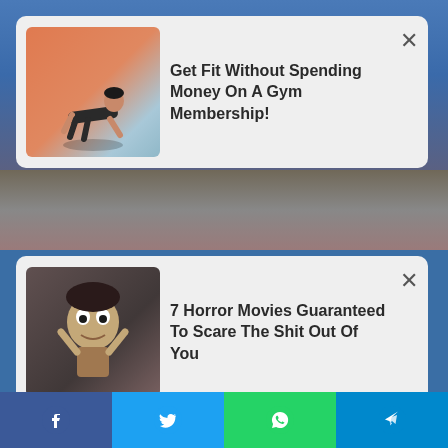[Figure (screenshot): Advertisement card 1: thumbnail of person doing plank exercise on orange/blue background, with text 'Get Fit Without Spending Money On A Gym Membership!' and X close button]
[Figure (screenshot): Advertisement card 2: thumbnail of horror movie image (doll/creature), with text '7 Horror Movies Guaranteed To Scare The Shit Out Of You' and X close button]
A Few Years Ago, Sandler’s Career Was Falling Apart
BRAINBERRIES
[Figure (photo): Photo showing two people: person in blonde wig/drag makeup on left, bald man in mirror reflection on right, in what appears to be a dressing room or backstage area]
Facebook | Twitter | WhatsApp | Telegram social share buttons